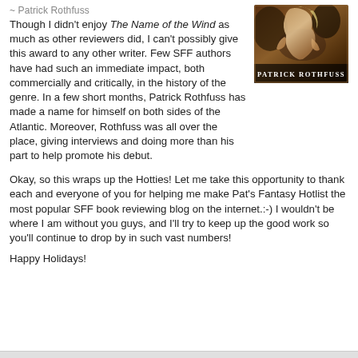~ Patrick Rothfuss
[Figure (photo): Book cover of The Name of the Wind by Patrick Rothfuss, showing a fantasy illustration with the author name PATRICK ROTHFUSS in white text at the bottom]
Though I didn't enjoy The Name of the Wind as much as other reviewers did, I can't possibly give this award to any other writer. Few SFF authors have had such an immediate impact, both commercially and critically, in the history of the genre. In a few short months, Patrick Rothfuss has made a name for himself on both sides of the Atlantic. Moreover, Rothfuss was all over the place, giving interviews and doing more than his part to help promote his debut.
Okay, so this wraps up the Hotties! Let me take this opportunity to thank each and everyone of you for helping me make Pat's Fantasy Hotlist the most popular SFF book reviewing blog on the internet.:-) I wouldn't be where I am without you guys, and I'll try to keep up the good work so you'll continue to drop by in such vast numbers!
Happy Holidays!